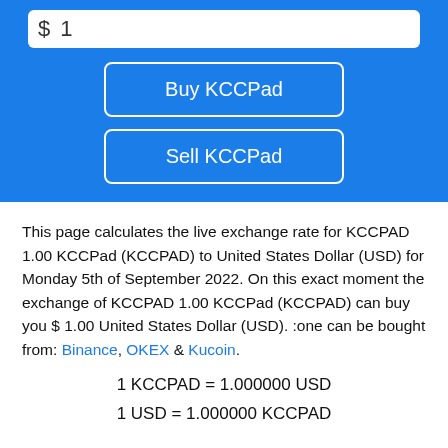$ 1
Buy KCCPad
Sell KCCPad
This page calculates the live exchange rate for KCCPAD 1.00 KCCPad (KCCPAD) to United States Dollar (USD) for Monday 5th of September 2022. On this exact moment the exchange of KCCPAD 1.00 KCCPad (KCCPAD) can buy you $ 1.00 United States Dollar (USD). :one can be bought from: Binance, OKEX & Kucoin.
1 KCCPAD = 1.000000 USD
1 USD = 1.000000 KCCPAD
[Figure (logo): Binance logo (dark background with yellow diamond icon and BINANCE text)]
[Figure (logo): OKEX logo with blue dot pattern and OKEX text]
[Figure (logo): KuCoin logo with green K icon and KUC text]